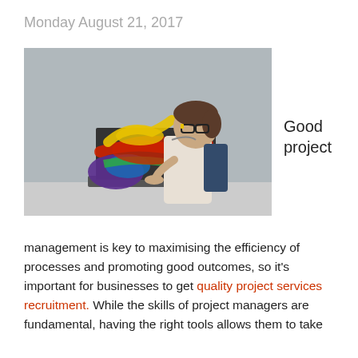Monday August 21, 2017
[Figure (photo): Woman with glasses sitting at a desk typing on a laptop, with colorful paint splashes (red, yellow, green, blue, purple) bursting out of the laptop screen]
Good project
management is key to maximising the efficiency of processes and promoting good outcomes, so it's important for businesses to get quality project services recruitment. While the skills of project managers are fundamental, having the right tools allows them to take